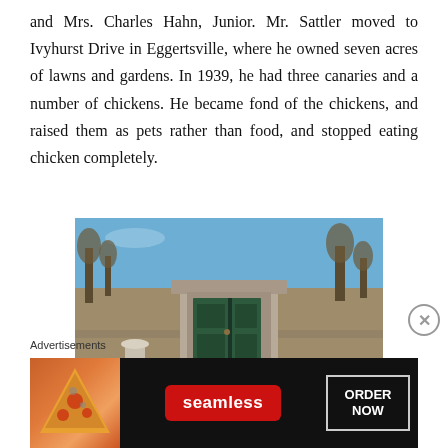and Mrs. Charles Hahn, Junior. Mr. Sattler moved to Ivyhurst Drive in Eggertsville, where he owned seven acres of lawns and gardens. In 1939, he had three canaries and a number of chickens. He became fond of the chickens, and raised them as pets rather than food, and stopped eating chicken completely.
[Figure (photo): A small stone mausoleum or monument with a green double door, set in a park-like landscape with bare trees and a stone wall in the background, under a clear blue sky.]
Advertisements
[Figure (infographic): Advertisement banner for Seamless food delivery service showing pizza on the left, Seamless logo in the center on a red rounded rectangle, and 'ORDER NOW' text in a white bordered box on the right, all on a dark background.]